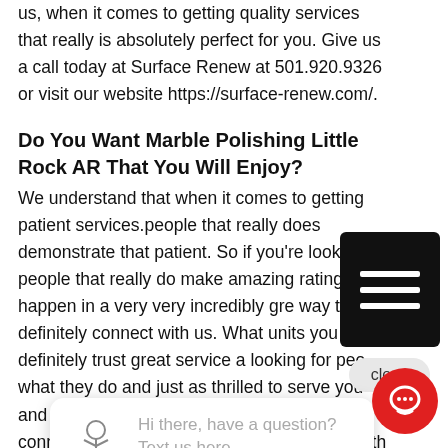us, when it comes to getting quality services that really is absolutely perfect for you. Give us a call today at Surface Renew at 501.920.9326 or visit our website https://surface-renew.com/.
Do You Want Marble Polishing Little Rock AR That You Will Enjoy?
We understand that when it comes to getting patient services.people that really does demonstrate that patient. So if you’re looking for people that really do make amazing ratings happen in a very very incredibly gre way they definitely connect with us. What units you definitely trust great service a looking for peo what they do and just as thrilled to serve you and a very, amazingly great way to definitely connect with us because the you’ll find that with our team. You’ll find people that really do make amazing great things happe in a very away because we believe in making sure that